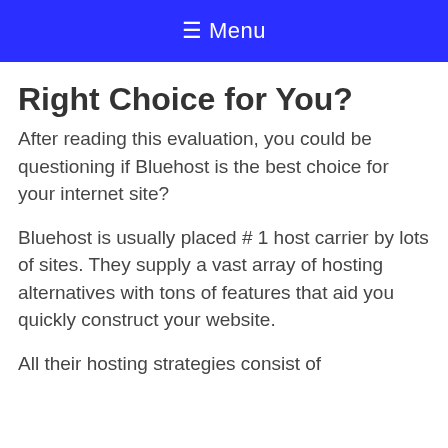☰ Menu
Right Choice for You?
After reading this evaluation, you could be questioning if Bluehost is the best choice for your internet site?
Bluehost is usually placed # 1 host carrier by lots of sites. They supply a vast array of hosting alternatives with tons of features that aid you quickly construct your website.
All their hosting strategies consist of